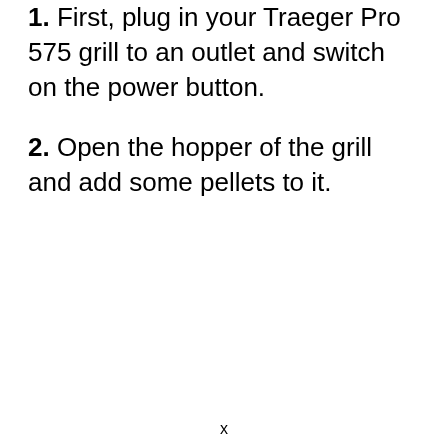1. First, plug in your Traeger Pro 575 grill to an outlet and switch on the power button.
2. Open the hopper of the grill and add some pellets to it.
x